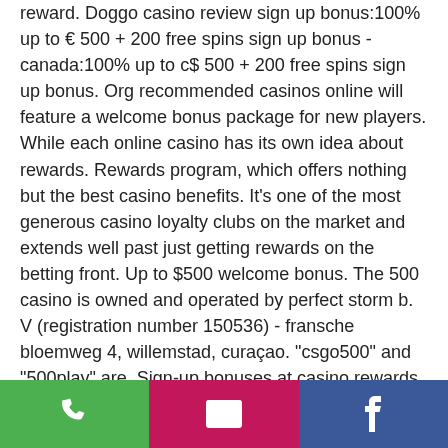reward. Doggo casino review sign up bonus:100% up to € 500 + 200 free spins sign up bonus - canada:100% up to c$ 500 + 200 free spins sign up bonus. Org recommended casinos online will feature a welcome bonus package for new players. While each online casino has its own idea about rewards. Rewards program, which offers nothing but the best casino benefits. It's one of the most generous casino loyalty clubs on the market and extends well past just getting rewards on the betting front. Up to $500 welcome bonus. The 500 casino is owned and operated by perfect storm b. V (registration number 150536) - fransche bloemweg 4, willemstad, curaçao. &quot;csgo500&quot; and &quot;500play&quot; are. Sign-up bonuses at casino rewards. In general, you can
[Figure (other): Bottom navigation bar with three buttons: green phone button, magenta/pink email button, and dark blue Facebook button, each with white icons]